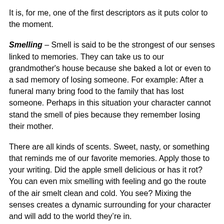It is, for me, one of the first descriptors as it puts color to the moment.
Smelling – Smell is said to be the strongest of our senses linked to memories. They can take us to our grandmother's house because she baked a lot or even to a sad memory of losing someone. For example: After a funeral many bring food to the family that has lost someone. Perhaps in this situation your character cannot stand the smell of pies because they remember losing their mother.
There are all kinds of scents. Sweet, nasty, or something that reminds me of our favorite memories. Apply those to your writing. Did the apple smell delicious or has it rot? You can even mix smelling with feeling and go the route of the air smelt clean and cold. You see? Mixing the senses creates a dynamic surrounding for your character and will add to the world they're in.